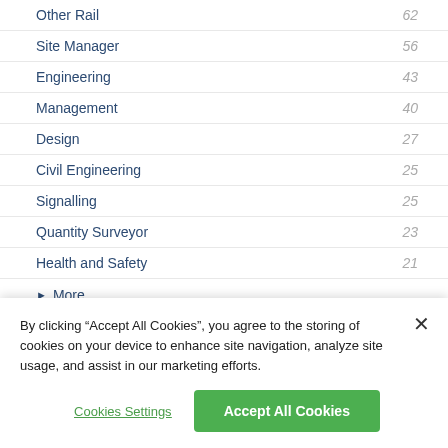Other Rail  62
Site Manager  56
Engineering  43
Management  40
Design  27
Civil Engineering  25
Signalling  25
Quantity Surveyor  23
Health and Safety  21
More
RECRUITERS
By clicking “Accept All Cookies”, you agree to the storing of cookies on your device to enhance site navigation, analyze site usage, and assist in our marketing efforts.